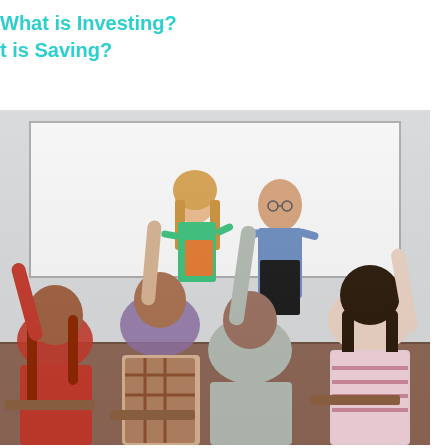What is Investing?
t is Saving?
[Figure (photo): A classroom scene viewed from behind students who are raising their hands. At the front stand a woman in a green top holding an orange folder and a man in a blue shirt. A whiteboard is visible behind them.]